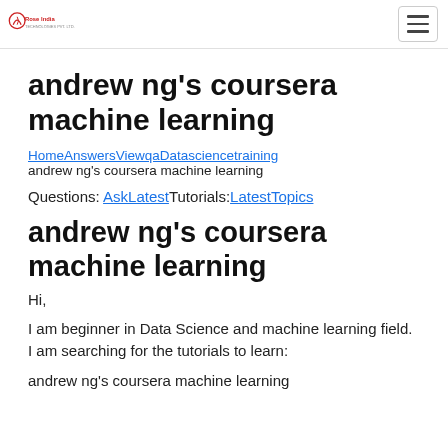Rose India [logo] [hamburger menu]
andrew ng's coursera machine learning
HomeAnswersViewqaDatasciencetraining
andrew ng's coursera machine learning
Questions: AskLatestTutorials:LatestTopics
andrew ng's coursera machine learning
Hi,
I am beginner in Data Science and machine learning field. I am searching for the tutorials to learn:
andrew ng's coursera machine learning